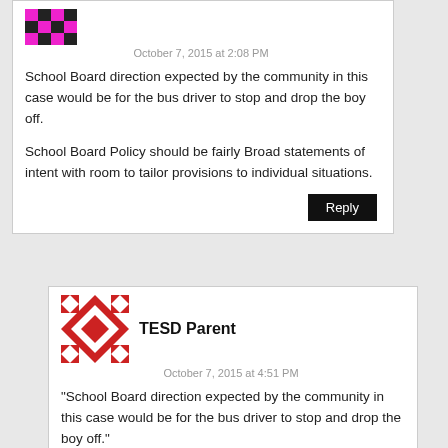[Figure (illustration): Purple/magenta pixel avatar icon for first commenter]
October 7, 2015 at 2:08 PM
School Board direction expected by the community in this case would be for the bus driver to stop and drop the boy off.

School Board Policy should be fairly Broad statements of intent with room to tailor provisions to individual situations.
Reply
[Figure (illustration): Red and white geometric/diamond pattern avatar for TESD Parent commenter]
TESD Parent
October 7, 2015 at 4:51 PM
“School Board direction expected by the community in this case would be for the bus driver to stop and drop the boy off.”